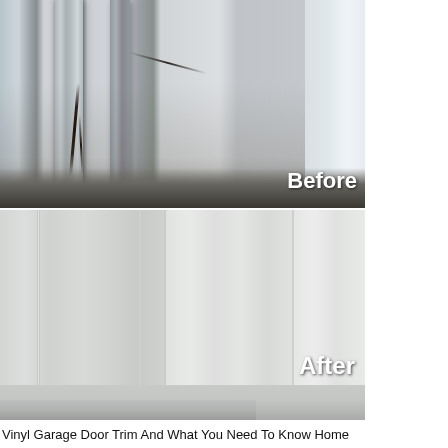[Figure (photo): Before and after comparison photos of vinyl garage door trim. Top image shows old, deteriorated, cracked and dirty white door trim at the base near gravel. Labeled 'Before'. Bottom image shows new clean white vinyl garage door trim panels with smooth texture. Labeled 'After'.]
Vinyl Garage Door Trim And What You Need To Know Home